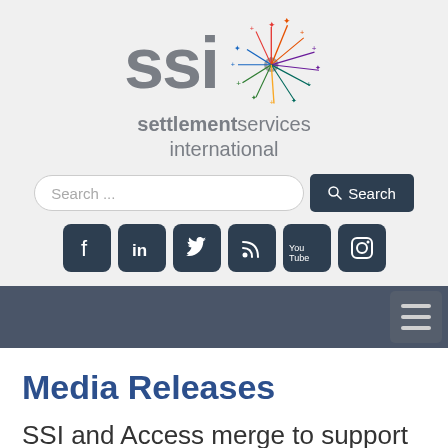[Figure (logo): SSI Settlement Services International logo with firework/starburst graphic in multiple colors and grey SSI text]
settlementservices international
[Figure (screenshot): Search bar with Search... placeholder text and dark Search button with magnifier icon]
[Figure (infographic): Row of six social media icons: Facebook, LinkedIn, Twitter, RSS, YouTube, Instagram - all with dark navy background and rounded square style]
[Figure (screenshot): Dark navy navigation bar with hamburger menu icon on the right]
Media Releases
SSI and Access merge to support people and